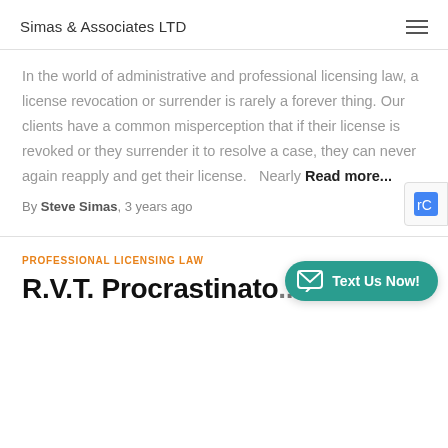Simas & Associates LTD
In the world of administrative and professional licensing law, a license revocation or surrender is rarely a forever thing. Our clients have a common misperception that if their license is revoked or they surrender it to resolve a case, they can never again reapply and get their license.   Nearly Read more...
By Steve Simas, 3 years ago
PROFESSIONAL LICENSING LAW
R.V.T. Procrastinato...